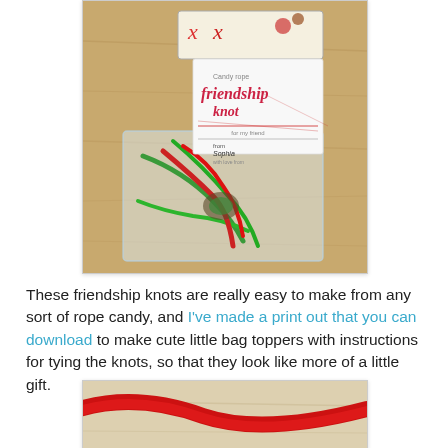[Figure (photo): A plastic bag containing red and green candy rope tied into friendship knots, with a handwritten card reading 'Candy rope Friendship Knot' on top. Background is a wooden table surface.]
These friendship knots are really easy to make from any sort of rope candy, and I've made a print out that you can download to make cute little bag toppers with instructions for tying the knots, so that they look like more of a little gift.
[Figure (photo): Close-up of a red candy rope on a light wooden or paper surface, partially cropped at bottom of page.]